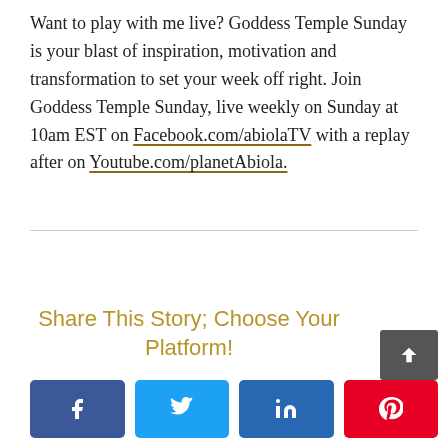Want to play with me live? Goddess Temple Sunday is your blast of inspiration, motivation and transformation to set your week off right. Join Goddess Temple Sunday, live weekly on Sunday at 10am EST on Facebook.com/abiolaTV with a replay after on Youtube.com/planetAbiola.
Share This Story; Choose Your Platform!